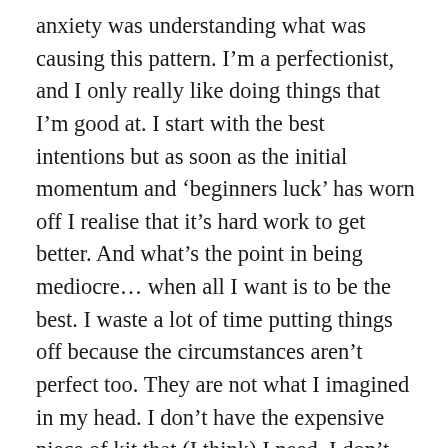anxiety was understanding what was causing this pattern. I'm a perfectionist, and I only really like doing things that I'm good at. I start with the best intentions but as soon as the initial momentum and 'beginners luck' has worn off I realise that it's hard work to get better. And what's the point in being mediocre… when all I want is to be the best. I waste a lot of time putting things off because the circumstances aren't perfect too. They are not what I imagined in my head. I don't have the expensive piece of kit that (I think) I need, I don't live near enough to the sea, I only have half an hour this evening so what's the point in practicing now when it's not enough time, I really need to do that important thing on my